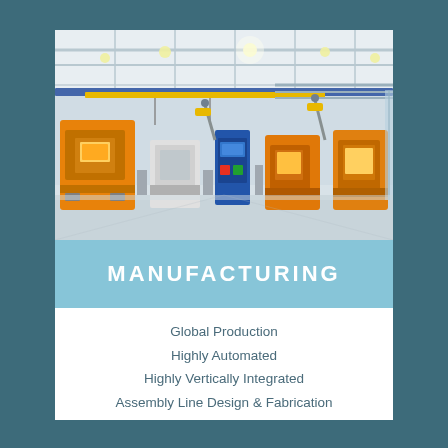[Figure (photo): Interior of a modern manufacturing facility showing industrial injection molding machines in orange and yellow, robotic assembly equipment, overhead cranes with yellow beams, steel pipe systems along the ceiling, and a wide open factory floor with bright overhead lighting.]
MANUFACTURING
Global Production
Highly Automated
Highly Vertically Integrated
Assembly Line Design & Fabrication